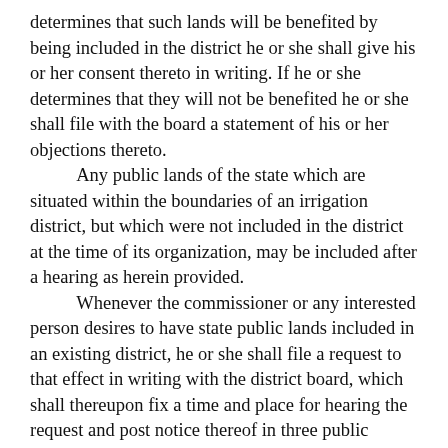determines that such lands will be benefited by being included in the district he or she shall give his or her consent thereto in writing. If he or she determines that they will not be benefited he or she shall file with the board a statement of his or her objections thereto.

Any public lands of the state which are situated within the boundaries of an irrigation district, but which were not included in the district at the time of its organization, may be included after a hearing as herein provided.

Whenever the commissioner or any interested person desires to have state public lands included in an existing district, he or she shall file a request to that effect in writing with the district board, which shall thereupon fix a time and place for hearing the request and post notice thereof in three public conspicuous places in the district, one of which shall be at the place of hearing, at least twenty days before the hearing, and send by registered mail a copy of the notice to the commissioner. The notice shall describe the lands to be included and direct all persons objecting to such inclusion to appear at the time and place stated, and